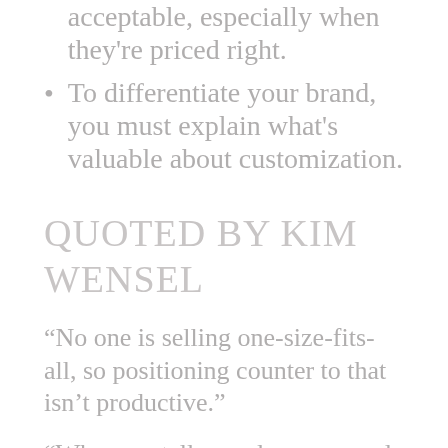acceptable, especially when they're priced right.
To differentiate your brand, you must explain what's valuable about customization.
QUOTED BY KIM WENSEL
“No one is selling one-size-fits-all, so positioning counter to that isn’t productive.”
“When we tell ourselves we need to change something for an individual client or group we need to assess whether it’s actually